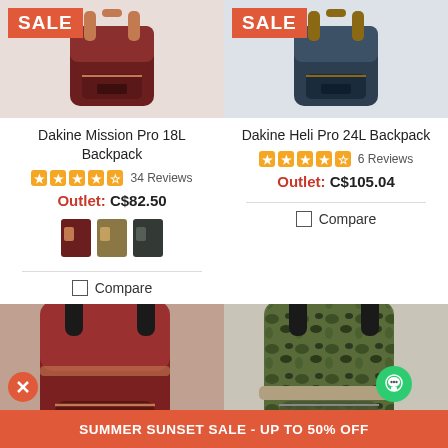[Figure (photo): Dakine Mission Pro 18L Backpack product image with red SALE badge, top-left product]
[Figure (photo): Dakine Heli Pro 24L Backpack product image with red SALE badge, top-right product]
Dakine Mission Pro 18L Backpack
34 Reviews
Outlet: C$82.50
[Figure (photo): Three color swatch thumbnails for Mission Pro backpack]
Compare
Dakine Heli Pro 24L Backpack
6 Reviews
Outlet: C$105.04
Compare
[Figure (photo): Dark red/maroon Dakine backpack full product image with SALE badge, bottom-left]
[Figure (photo): Camo/green pattern Dakine backpack full product image with SALE badge, bottom-right]
SUMMER SUNSET SALE - UP TO 50% OFF